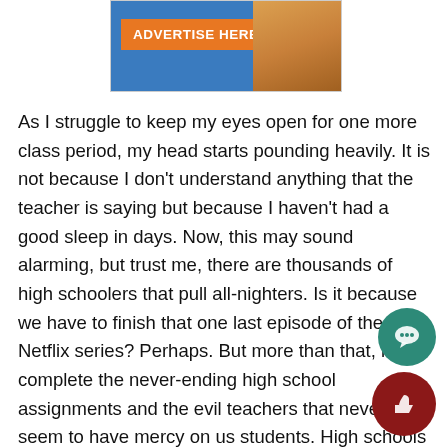[Figure (other): Advertisement banner with orange 'ADVERTISE HERE' button on blue background with cat image on right]
As I struggle to keep my eyes open for one more class period, my head starts pounding heavily. It is not because I don't understand anything that the teacher is saying but because I haven't had a good sleep in days. Now, this may sound alarming, but trust me, there are thousands of high schoolers that pull all-nighters. Is it because we have to finish that one last episode of the Netflix series? Perhaps. But more than that, it is to complete the never-ending high school assignments and the evil teachers that never seem to have mercy on us students. High schools want students to be ideal; we should be involved with extra-curricular, have good grades in our classes, volunteer, and also work! I want to remind schools that there are only 24 hours in a day. The chaos, exhaustion, and depletion can harm a student, which could affect their mental and physical health. For this very reason, High schools should regulate mandatory nap time for students, just like the good old days.